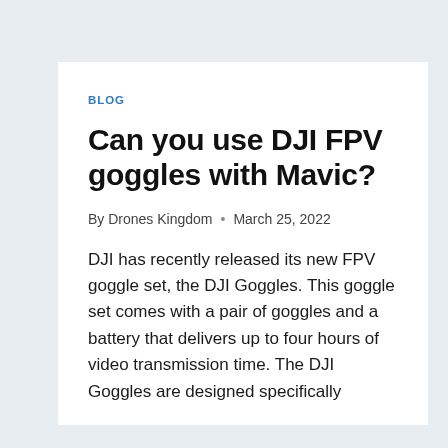BLOG
Can you use DJI FPV goggles with Mavic?
By Drones Kingdom • March 25, 2022
DJI has recently released its new FPV goggle set, the DJI Goggles. This goggle set comes with a pair of goggles and a battery that delivers up to four hours of video transmission time. The DJI Goggles are designed specifically